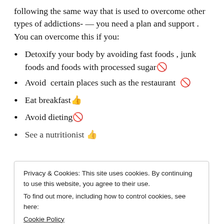following the same way that is used to overcome other types of addictions- — you need a plan and support . You can overcome this if you:
Detoxify your body by avoiding fast foods , junk foods and foods with processed sugar🚫
Avoid  certain places such as the restaurant 🚫
Eat breakfast👍
Avoid dieting🚫
See a nutritionist 👍
Privacy & Cookies: This site uses cookies. By continuing to use this website, you agree to their use. To find out more, including how to control cookies, see here: Cookie Policy
Close and accept